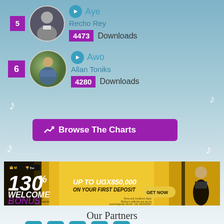5 - Aye / Recho Rey - 4473 Downloads
6 - Awo / Allan Toniks - 4280 Downloads
Browse The Charts
[Figure (infographic): Advertisement banner: 130% WELCOME BONUS up to UGX850,000 on your first deposit - GET NOW]
Our Partners
[Figure (infographic): Social media partner icons: Facebook, Instagram, Twitter, YouTube, Google+]